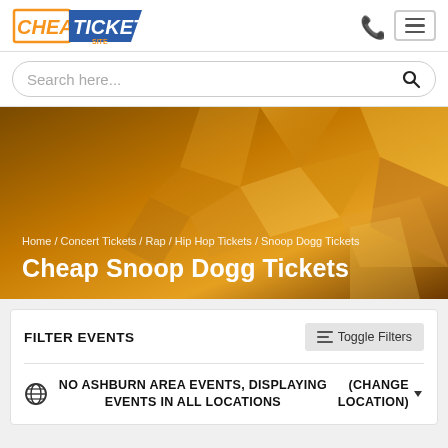[Figure (logo): CheapTicket Site logo with orange and blue styling]
Search here...
[Figure (illustration): Orange hero banner with geometric diamond/triangle shapes in warm gold tones]
Home / Concert Tickets / Rap / Hip Hop Tickets / Snoop Dogg Tickets
Cheap Snoop Dogg Tickets
FILTER EVENTS
NO ASHBURN AREA EVENTS, DISPLAYING EVENTS IN ALL LOCATIONS
(CHANGE LOCATION)